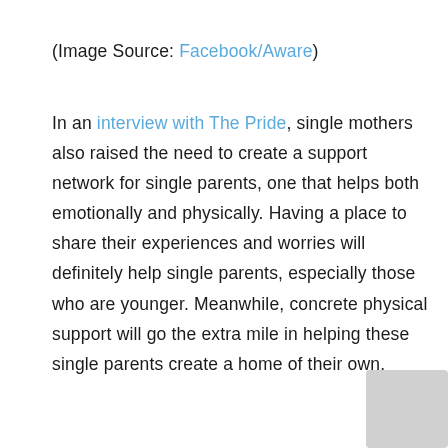(Image Source: Facebook/Aware)
In an interview with The Pride, single mothers also raised the need to create a support network for single parents, one that helps both emotionally and physically. Having a place to share their experiences and worries will definitely help single parents, especially those who are younger. Meanwhile, concrete physical support will go the extra mile in helping these single parents create a home of their own.